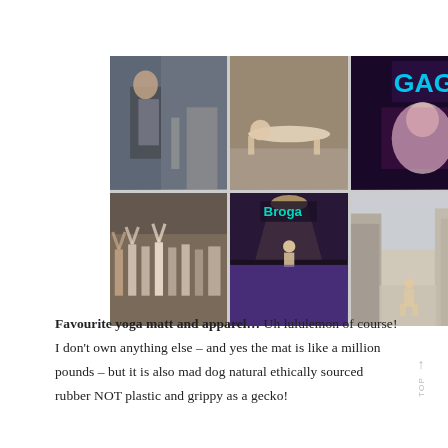[Figure (photo): A 2x3 grid of six photos: (1) man in profile on a city street, (2) person doing a yoga balance pose lying flat, (3) Lady Gaga-style performer with neon GAGA sign, (4) large group yoga class with arms raised, (5) yoga instructor on stage with audience in purple light and 'Broga' sign, (6) person doing yoga in an empty city street between brick buildings]
Favourite yoga matt and apparel… Uh lululemon of course! I don't own anything else – and yes the mat is like a million pounds – but it is also mad dog natural ethically sourced rubber NOT plastic and grippy as a gecko!